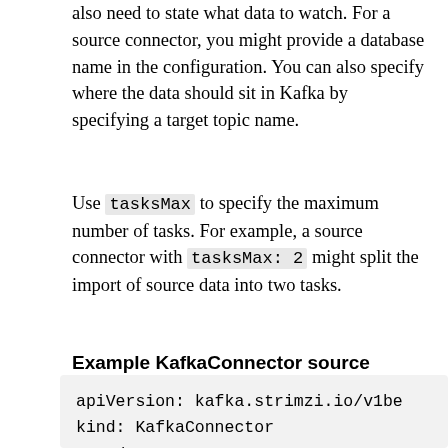also need to state what data to watch. For a source connector, you might provide a database name in the configuration. You can also specify where the data should sit in Kafka by specifying a target topic name.
Use tasksMax to specify the maximum number of tasks. For example, a source connector with tasksMax: 2 might split the import of source data into two tasks.
Example KafkaConnector source connector configuration
apiVersion: kafka.strimzi.io/v1be
kind: KafkaConnector
metadata:
  name: my-source-connector  (1)
  labels: